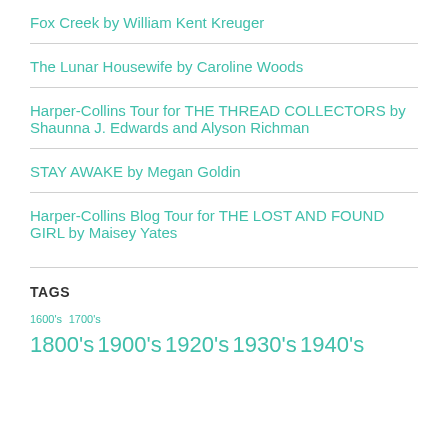Fox Creek by William Kent Kreuger
The Lunar Housewife by Caroline Woods
Harper-Collins Tour for THE THREAD COLLECTORS by Shaunna J. Edwards and Alyson Richman
STAY AWAKE by Megan Goldin
Harper-Collins Blog Tour for THE LOST AND FOUND GIRL by Maisey Yates
TAGS
1600's 1700's 1800's 1900's 1920's 1930's 1940's